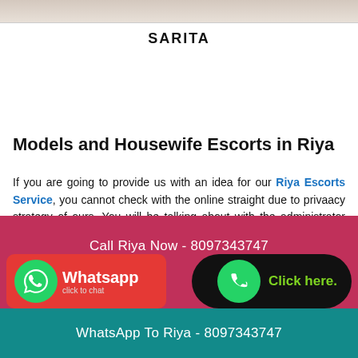[Figure (photo): Partial photo strip at top of page (cropped image of a person)]
SARITA
Models and Housewife Escorts in Riya
If you are going to provide us with an idea for our Riya Escorts Service, you cannot check with the online straight due to privaacy strategy of ours. You will be talking about with the administrator and he will tell you everything about our adoring and specialized Service Riya Independent Escorts You can tell him your needs in details and he will observe it and provides you an interval of your opportunity to coordinate the identified
Call Riya Now - 8097343747
WhatsApp To Riya - 8097343747